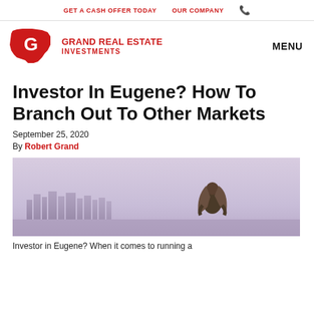GET A CASH OFFER TODAY   OUR COMPANY
[Figure (logo): Grand Real Estate Investments logo — red Oregon state shape with white G, text GRAND REAL ESTATE INVESTMENTS in red]
Investor In Eugene? How To Branch Out To Other Markets
September 25, 2020
By Robert Grand
[Figure (photo): Woman with long hair looking out at a city skyline with a hazy sky]
Investor in Eugene? When it comes to running a